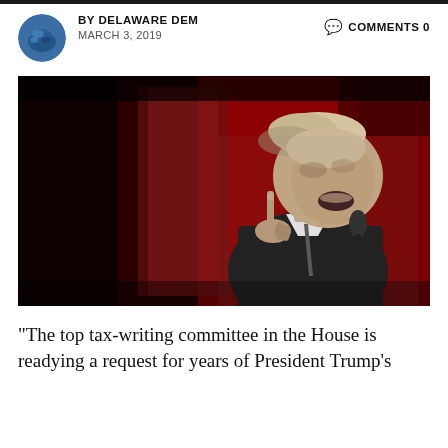BY DELAWARE DEM   COMMENTS 0   MARCH 3, 2019
[Figure (photo): Black and white photo of President Trump speaking at a podium with a microphone, pointing finger upward, against a red curtain background]
“The top tax-writing committee in the House is readying a request for years of President Trump’s